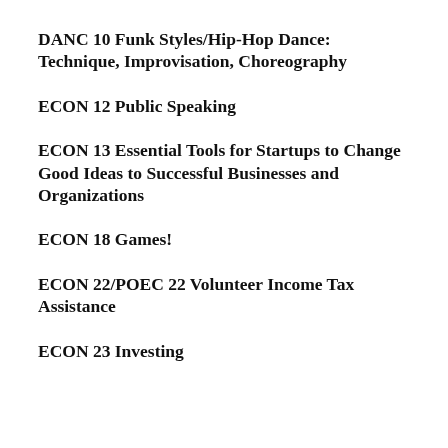DANC 10 Funk Styles/Hip-Hop Dance: Technique, Improvisation, Choreography
ECON 12 Public Speaking
ECON 13 Essential Tools for Startups to Change Good Ideas to Successful Businesses and Organizations
ECON 18 Games!
ECON 22/POEC 22 Volunteer Income Tax Assistance
ECON 23 Investing